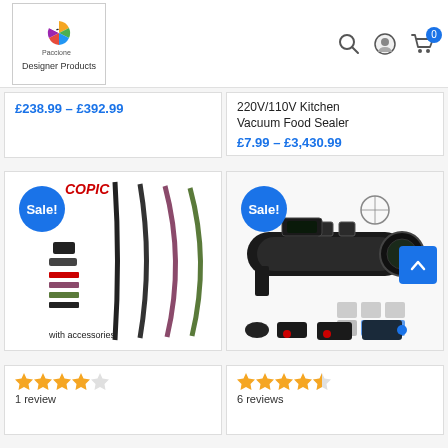[Figure (logo): Paccione Designer Products logo with colorful pinwheel icon]
£238.99 – £392.99
220V/110V Kitchen Vacuum Food Sealer
£7.99 – £3,430.99
[Figure (photo): COPIC archery bows with accessories, Sale badge, recurve bows in multiple colors]
[Figure (photo): Rifle scope with laser and red dot sight accessories, Sale badge]
1 review
6 reviews